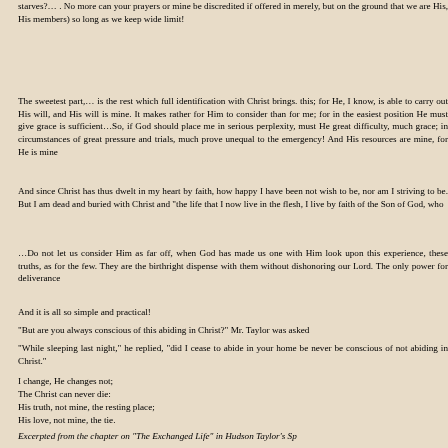starves?… . No more can your prayers or mine be discredited if offered in merely, but on the ground that we are His, His members) so long as we keep wide limit!
The sweetest part,… is the rest which full identification with Christ brings. this; for He, I know, is able to carry out His will, and His will is mine. It makes rather for Him to consider than for me; for in the easiest position He must give grace is sufficient…So, if God should place me in serious perplexity, must He great difficulty, much grace; in circumstances of great pressure and trials, much prove unequal to the emergency! And His resources are mine, for He is mine
And since Christ has thus dwelt in my heart by faith, how happy I have been not wish to be, nor am I striving to be. But I am dead and buried with Christ and "the life that I now live in the flesh, I live by faith of the Son of God, who
…Do not let us consider Him as far off, when God has made us one with Him look upon this experience, these truths, as for the few. They are the birthright dispense with them without dishonoring our Lord. The only power for deliverance
And it is all so simple and practical!
“But are you always conscious of this abiding in Christ?” Mr. Taylor was asked
“While sleeping last night,” he replied, “did I cease to abide in your home be never be conscious of not abiding in Christ.”
I change, He changes not;
The Christ can never die:
His truth, not mine, the resting place;
His love, not mine, the tie.
Excerpted from the chapter on “The Exchanged Life” in Hudson Taylor’s Sp